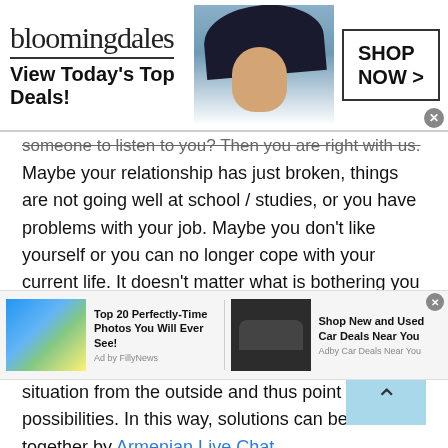[Figure (screenshot): Bloomingdales advertisement banner: logo text 'bloomingdales', tagline 'View Today's Top Deals!', woman in wide-brim hat, 'SHOP NOW >' button with close X]
someone to listen to you? Then you are right with us.
Maybe your relationship has just broken, things are not going well at school / studies, or you have problems with your job. Maybe you don't like yourself or you can no longer cope with your current life. It doesn't matter what is bothering you or how old you are, what matters is that people talk about their problems. It often also helps to simply have someone who can look at your whole situation from the outside and thus point out possibilities. In this way, solutions can be found together by Armenian Live Chat.
[Figure (screenshot): Bottom advertisement strip with two ads: 'Top 20 Perfectly-Time Photos You Will Ever See!' by FillyNews, and 'Shop New and Used Car Deals Near You' by Car Deals Near You]